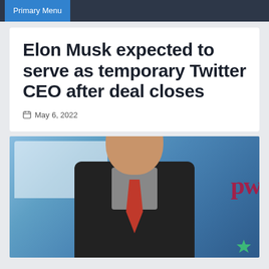Primary Menu
Elon Musk expected to serve as temporary Twitter CEO after deal closes
May 6, 2022
[Figure (photo): Photo of Elon Musk in a dark suit with red tie, speaking at an event with a blue background and partial 'pw' logo visible on right side]